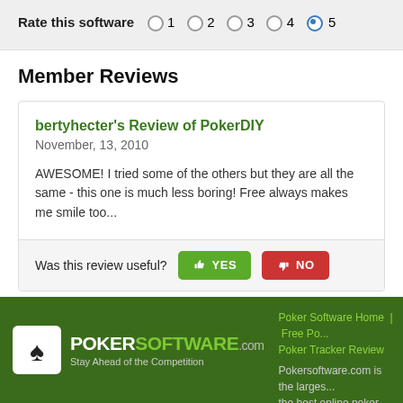Rate this software  1  2  3  4  5
Member Reviews
bertyhecter's Review of PokerDIY
November, 13, 2010
AWESOME! I tried some of the others but they are all the same - this one is much less boring! Free always makes me smile too...
Was this review useful?  YES  NO
[Figure (logo): PokerSoftware.com logo with spade icon and tagline 'Stay Ahead of the Competition' on green banner footer]
Poker Software Home | Free Po... Poker Tracker Review
Pokersoftware.com is the larges... the best online poker software. N... our poker articles and Poker Sof...